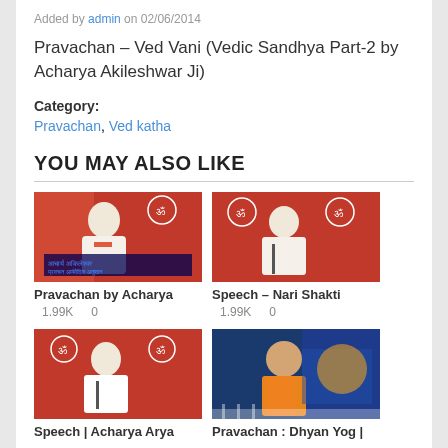Added by admin on 02/06/2014
Pravachan – Ved Vani (Vedic Sandhya Part-2 by Acharya Akileshwar Ji)
Category:
Pravachan, Ved katha
YOU MAY ALSO LIKE
[Figure (photo): Thumbnail image of a speaker in white clothing and orange sash against a red background with Hindi text overlay]
Pravachan by Acharya
1.99K    0
[Figure (photo): Thumbnail image of a speaker in white clothing against a red background]
Speech – Nari Shakti
1.99K    0
[Figure (photo): Thumbnail image of a speaker in white clothing against a red background with logos]
Speech | Acharya Arya
[Figure (photo): Thumbnail image of a woman in orange clothing speaking]
Pravachan : Dhyan Yog |